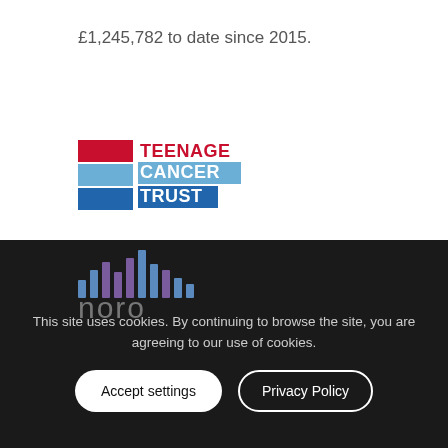£1,245,782 to date since 2015.
[Figure (logo): Teenage Cancer Trust logo — red and blue rectangular blocks with white text]
[Figure (logo): London Welsh RFC logo — red Welsh dragon holding a flag, rendered in red outline style]
London Welsh RFC
[Figure (logo): Noro Music Therapy logo — purple/teal equalizer bars above the word 'noro' in grey lowercase with 'MUSIC THE' subtitle text]
This site uses cookies. By continuing to browse the site, you are agreeing to our use of cookies.